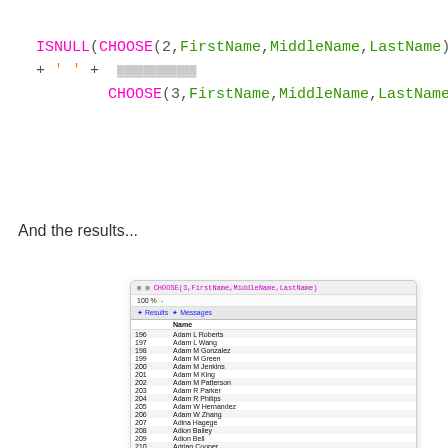ISNULL(CHOOSE(2,FirstName,MiddleName,LastName),    '') + ' ' + CHOOSE(3,FirstName,MiddleName,LastName)
And the results...
[Figure (screenshot): SQL Server Management Studio results grid showing query 'CHOOSE(3,FirstName,MiddleName,LastName)' at 100% zoom with Results and Messages tabs. Table has two columns: row numbers (196-211) and Name column showing: Adam L Roberts, Adam L Wang, Adam M Gonzalez, Adam M Green, Adam M Jenkins, Adam M King, Adam M Patterson, Adam R Parker, Adam R Philips, Adam W Hernandez, Adam W Zhang, Adina Hagege, Adion Bailey, Adion Bell, Adrian Cooper, Adrian Dumitrascu.]